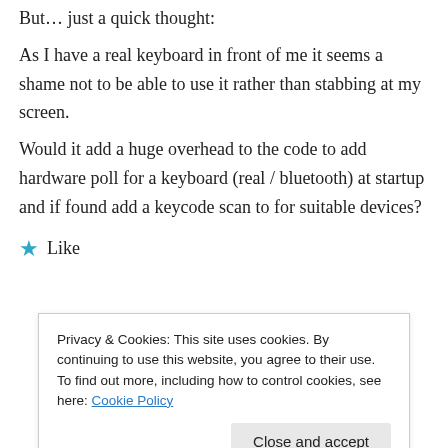But… just a quick thought:
As I have a real keyboard in front of me it seems a shame not to be able to use it rather than stabbing at my screen.
Would it add a huge overhead to the code to add hardware poll for a keyboard (real / bluetooth) at startup and if found add a keycode scan to for suitable devices?
★ Like
Privacy & Cookies: This site uses cookies. By continuing to use this website, you agree to their use.
To find out more, including how to control cookies, see here: Cookie Policy
Close and accept
I'm working on supporting physical